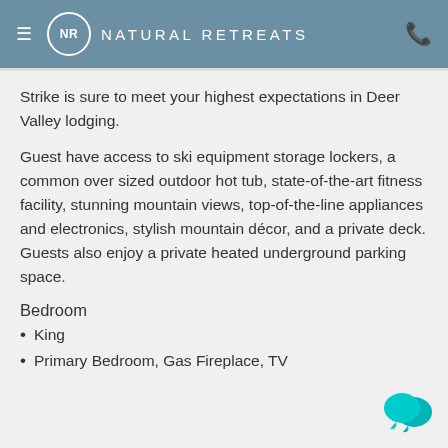NR NATURAL RETREATS
Strike is sure to meet your highest expectations in Deer Valley lodging.
Guest have access to ski equipment storage lockers, a common over sized outdoor hot tub, state-of-the-art fitness facility, stunning mountain views, top-of-the-line appliances and electronics, stylish mountain décor, and a private deck. Guests also enjoy a private heated underground parking space.
Bedroom
King
Primary Bedroom, Gas Fireplace, TV